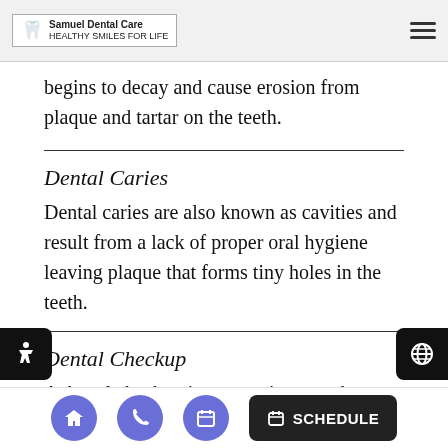Samuel Dental Care - HEALTHY SMILES FOR LIFE
begins to decay and cause erosion from plaque and tartar on the teeth.
Dental Caries
Dental caries are also known as cavities and result from a lack of proper oral hygiene leaving plaque that forms tiny holes in the teeth.
Dental Checkup
A dental checkup is an appointment that involves cleaning the teeth, identifying...